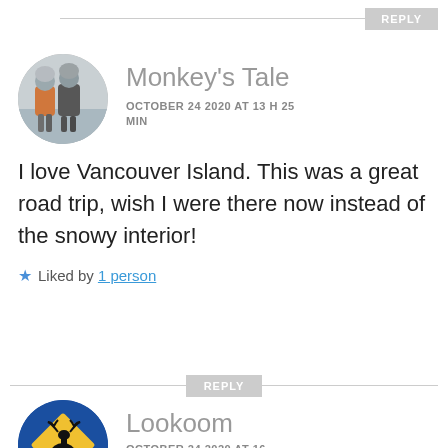REPLY
[Figure (photo): Circular avatar showing two people in winter gear/ski equipment in snowy conditions, wearing orange and dark jackets]
Monkey's Tale
OCTOBER 24 2020 AT 13 H 25 MIN
I love Vancouver Island. This was a great road trip, wish I were there now instead of the snowy interior!
★ Liked by 1 person
REPLY
[Figure (photo): Circular avatar showing a moose warning road sign (yellow diamond shape with moose silhouette) on blue background]
Lookoom
OCTOBER 24 2020 AT 16...